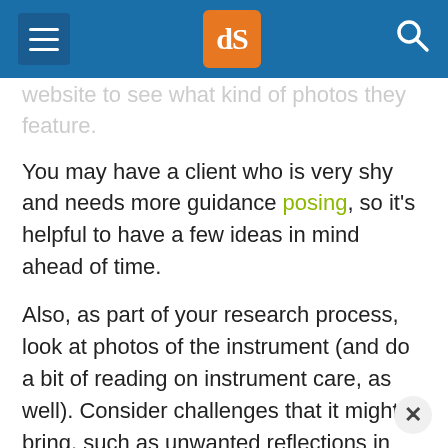dPS (logo)
website to see what kind of photos they feature.
You may have a client who is very shy and needs more guidance posing, so it's helpful to have a few ideas in mind ahead of time.
Also, as part of your research process, look at photos of the instrument (and do a bit of reading on instrument care, as well). Consider challenges that it might bring, such as unwanted reflections in brass, the immobility of harps or pianos, sensitivity to temperature or weather,